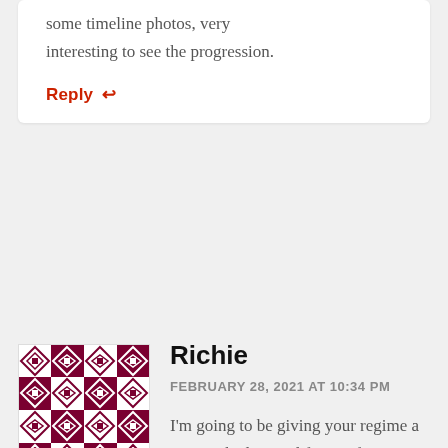some timeline photos, very interesting to see the progression.
Reply ↩
[Figure (illustration): Avatar image with geometric/diamond pattern in dark red/maroon on white background]
Richie
FEBRUARY 28, 2021 AT 10:34 PM
I'm going to be giving your regime a try. I've had toenail fungus for a decade and I want to finally get rid of it completely. I tried tea tree oil non diluted on my big toe just to see if I can start seeing progress before going full in. Big mistake! It ended up